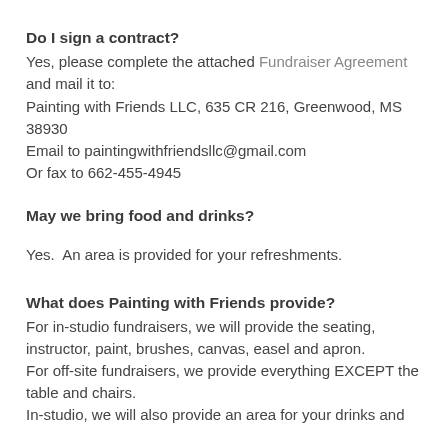Do I sign a contract?
Yes, please complete the attached Fundraiser Agreement and mail it to:
Painting with Friends LLC, 635 CR 216, Greenwood, MS 38930
Email to paintingwithfriendsllc@gmail.com
Or fax to 662-455-4945
May we bring food and drinks?
Yes.  An area is provided for your refreshments.
What does Painting with Friends provide?
For in-studio fundraisers, we will provide the seating, instructor, paint, brushes, canvas, easel and apron.
For off-site fundraisers, we provide everything EXCEPT the table and chairs.
In-studio, we will also provide an area for your drinks and